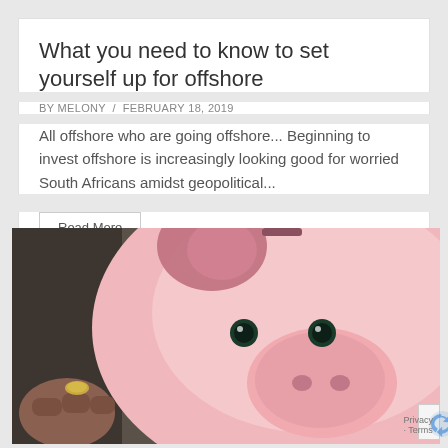What you need to know to set yourself up for offshore
BY MELONY / FEBRUARY 18, 2019
All offshore who are going offshore... Beginning to invest offshore is increasingly looking good for worried South Africans amidst geopolitical...
Read More
[Figure (photo): Close-up photo of a pink ceramic piggy bank with a hand inserting a coin, against a dark background. The piggy bank has black eyes and a round snout.]
Privacy · Terms